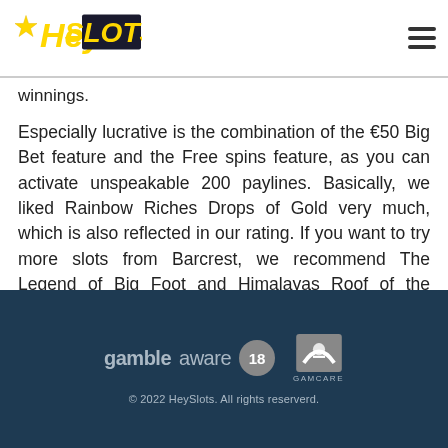Hey!Slots [logo]
winnings.
Especially lucrative is the combination of the €50 Big Bet feature and the Free spins feature, as you can activate unspeakable 200 paylines. Basically, we liked Rainbow Riches Drops of Gold very much, which is also reflected in our rating. If you want to try more slots from Barcrest, we recommend The Legend of Big Foot and Himalayas Roof of the World.
gambleaware 18 GAMCARE © 2022 HeySlots. All rights reserverd.